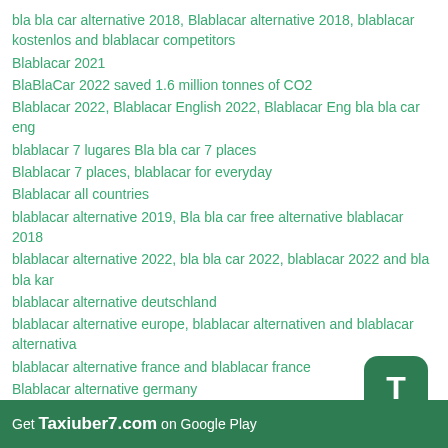bla bla car alternative 2018, Blablacar alternative 2018, blablacar kostenlos and blablacar competitors
Blablacar 2021
BlaBlaCar 2022 saved 1.6 million tonnes of CO2
Blablacar 2022, Blablacar English 2022, Blablacar Eng bla bla car eng
blablacar 7 lugares Bla bla car 7 places
Blablacar 7 places, blablacar for everyday
Blablacar all countries
blablacar alternative 2019, Bla bla car free alternative blablacar 2018
blablacar alternative 2022, bla bla car 2022, blablacar 2022 and bla bla kar
blablacar alternative deutschland
blablacar alternative europe, blablacar alternativen and blablacar alternativa
blablacar alternative france and blablacar france
Blablacar alternative germany
blablacar alternative india, Bla Bla Car India, Blablacar India
blablacar alternative italia and blablacar italia
blablacar alternative österreich
blablacar alternative spain
blablacar alternative uk, blablacar uk and bla bla car uk
blablacar alternative USA, Blablacar Usa - United States of America
Get Taxiuber7.com on Google Play